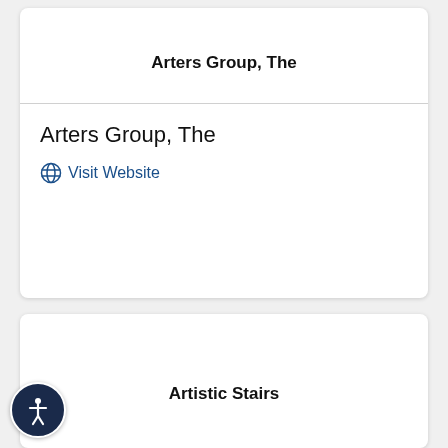Arters Group, The
Arters Group, The
Visit Website
Artistic Stairs